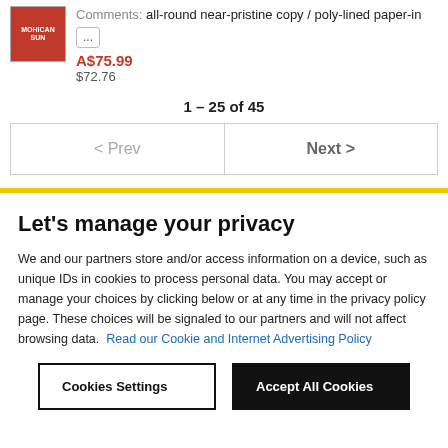Comments: all-round near-pristine copy / poly-lined paper-in ...
A$75.99
$72.76
1 – 25 of 45
< Prev    Next >
Let's manage your privacy
We and our partners store and/or access information on a device, such as unique IDs in cookies to process personal data. You may accept or manage your choices by clicking below or at any time in the privacy policy page. These choices will be signaled to our partners and will not affect browsing data. Read our Cookie and Internet Advertising Policy
Cookies Settings
Accept All Cookies